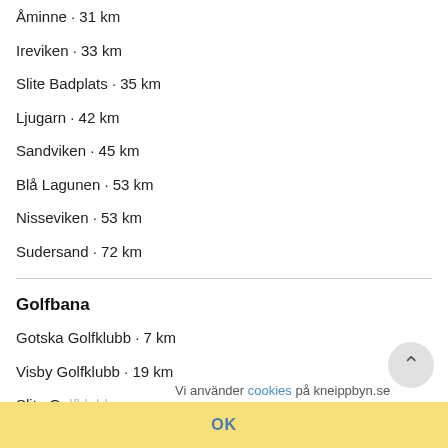Åminne · 31 km
Ireviken · 33 km
Slite Badplats · 35 km
Ljugarn · 42 km
Sandviken · 45 km
Blå Lagunen · 53 km
Nisseviken · 53 km
Sudersand · 72 km
Golfbana
Gotska Golfklubb · 7 km
Visby Golfklubb · 19 km
Slite Go[lfklubb · …]
Gumbal[la Golfklubb · …]
Vi använder cookies på kneippbyn.se
OK